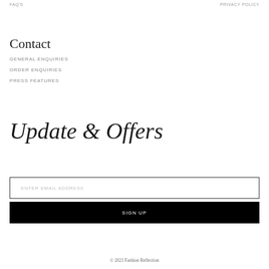FAQ'S    PRIVACY POLICY
Contact
GENERAL ENQUIRIES
ORDER ENQUIRIES
PRESS FEATURES
Update & Offers
ENTER EMAIL ADDRESS
SIGN UP
© 2021 Fashion Reflection